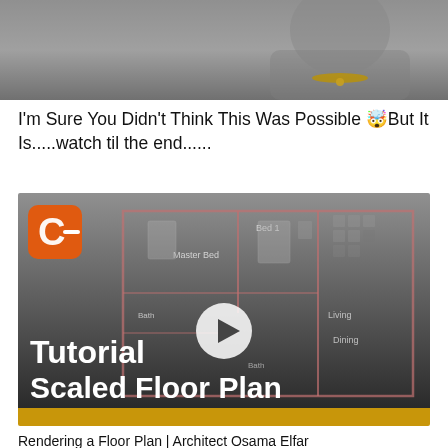[Figure (photo): A man with a beard and gold chain in a video thumbnail with social media watermarks: YT@PAPADUCK00, FB@PAPADUCKFANPAGE, IG@PAPADUCK541, SC@PAPADUCKSLMG, CASHAPP:$STREETLOOTSUCK, PAYPAL:PAPADUCKDONATIONS]
I'm Sure You Didn't Think This Was Possible 🤯But It Is.....watch til the end......
[Figure (screenshot): Video thumbnail for a tutorial about rendering a scaled floor plan. Shows an architectural floor plan with rooms labeled Master Bed, Bed 1, Bath, Living, Dining, Bath. Has a large play button in the center, an orange Revit/software logo in top left, and text overlaid: 'Tutorial' and 'Scaled Floor Plan'. A yellow/gold bar runs across the bottom.]
Rendering a Floor Plan | Architect Osama Elfar